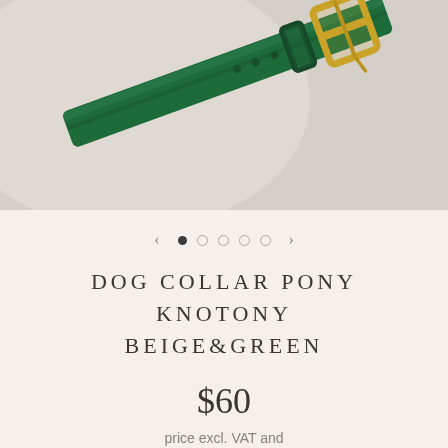[Figure (photo): Close-up photo of a green leather dog collar with gold buckle hardware, on a light gray/beige background]
DOG COLLAR PONY KNOTONY BEIGE&GREEN
$60
price excl. VAT and customs fees